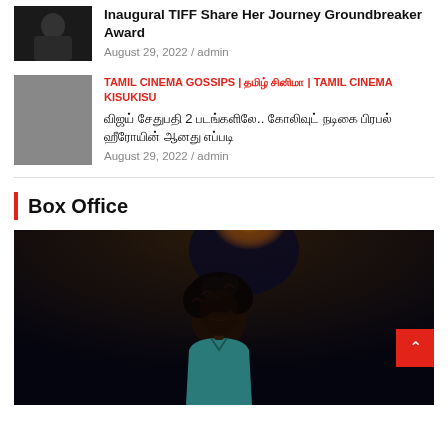[Figure (photo): Small thumbnail image of a person, dark background, top article]
Inaugural TIFF Share Her Journey Groundbreaker Award
August 29, 2022 / admin
[Figure (photo): Gray placeholder thumbnail for second article]
TAMIL CINEMA GOSSIPS | தமிழ் சினிமா | TAMIL CINEMA KISUKISU
விஜய் சேதுபதி 2 படங்களிலே.. கோலிவுட் நடிகை பிரபல் ஹீரோயின் ஆனது எப்படி
August 29, 2022 / admin
Box Office
[Figure (photo): Dark cinematic scene with a man having curly hair and face paint, wearing a teal shirt, with a bright light behind him]